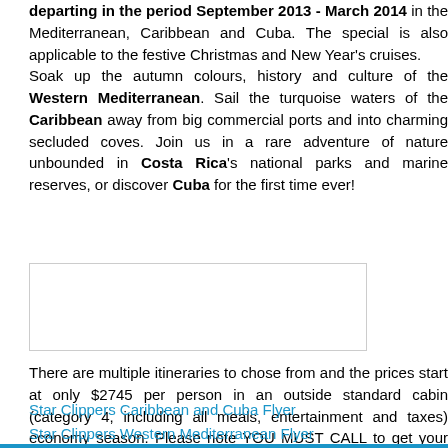departing in the period September 2013 - March 2014 in the Mediterranean, Caribbean and Cuba. The special is also applicable to the festive Christmas and New Year's cruises. Soak up the autumn colours, history and culture of the Western Mediterranean. Sail the turquoise waters of the Caribbean away from big commercial ports and into charming secluded coves. Join us in a rare adventure of nature unbounded in Costa Rica's national parks and marine reserves, or discover Cuba for the first time ever!
[Figure (photo): Image placeholder box (white rectangle with border)]
There are multiple itineraries to chose from and the prices start at only $2745 per person in an outside standard cabin (category 4, including all meals, entertainment and taxes) economy season. Please note YOU MUST CALL to get your 20% OFF as this deal is available only through your travel agent or by calling 1300 362 599. Availability and conditions apply.
Star Clippers Caribbean and Cuba Flyer
Star Clippers Western Mediterranean Flyer
Click here for a PDF copy of Star Clippers 2013/14 brochure